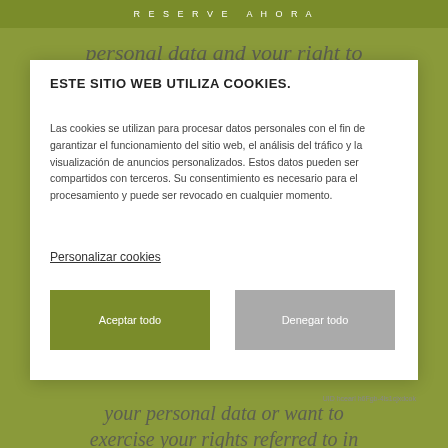RESERVE AHORA
personal data and your right to
ESTE SITIO WEB UTILIZA COOKIES.
Las cookies se utilizan para procesar datos personales con el fin de garantizar el funcionamiento del sitio web, el análisis del tráfico y la visualización de anuncios personalizados. Estos datos pueden ser compartidos con terceros. Su consentimiento es necesario para el procesamiento y puede ser revocado en cualquier momento.
Personalizar cookies
Aceptar todo
Denegar todo
UID hcearl h6Fgb-4ls1cjxdcok
your personal data or want to exercise your rights referred to in